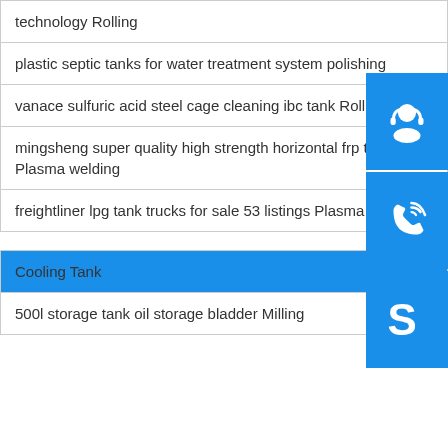technology Rolling
plastic septic tanks for water treatment system polishing
vanace sulfuric acid steel cage cleaning ibc tank Rolling
mingsheng super quality high strength horizontal frp tank Plasma welding
freightliner lpg tank trucks for sale 53 listings Plasma welding
Cooling Tank
500l storage tank oil storage bladder Milling